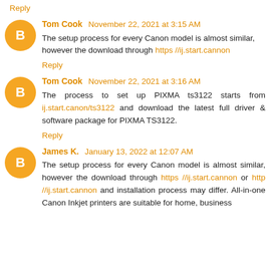Reply
Tom Cook November 22, 2021 at 3:15 AM
The setup process for every Canon model is almost similar, however the download through https //ij.start.cannon
Reply
Tom Cook November 22, 2021 at 3:16 AM
The process to set up PIXMA ts3122 starts from ij.start.canon/ts3122 and download the latest full driver & software package for PIXMA TS3122.
Reply
James K. January 13, 2022 at 12:07 AM
The setup process for every Canon model is almost similar, however the download through https //ij.start.cannon or http //ij.start.cannon and installation process may differ. All-in-one Canon Inkjet printers are suitable for home, business